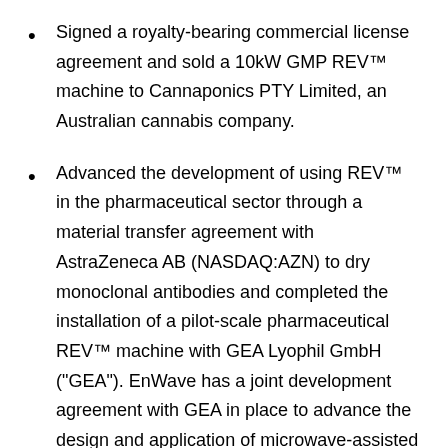Signed a royalty-bearing commercial license agreement and sold a 10kW GMP REV™ machine to Cannaponics PTY Limited, an Australian cannabis company.
Advanced the development of using REV™ in the pharmaceutical sector through a material transfer agreement with AstraZeneca AB (NASDAQ:AZN) to dry monoclonal antibodies and completed the installation of a pilot-scale pharmaceutical REV™ machine with GEA Lyophil GmbH ("GEA"). EnWave has a joint development agreement with GEA in place to advance the design and application of microwave-assisted lyophilization for